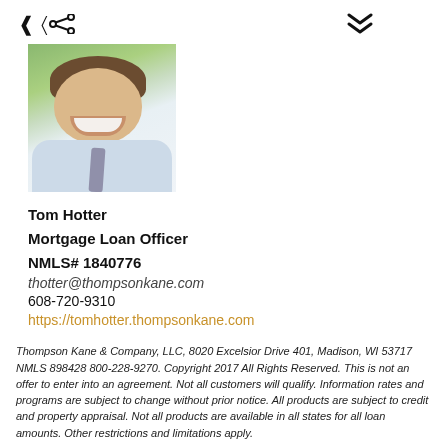[Figure (photo): Photo of Tom Hotter, a man in a light blue shirt and tie, smiling outdoors with green foliage background]
Tom Hotter
Mortgage Loan Officer
NMLS# 1840776
thotter@thompsonkane.com
608-720-9310
https://tomhotter.thompsonkane.com
Thompson Kane & Company, LLC, 8020 Excelsior Drive 401, Madison, WI 53717 NMLS 898428 800-228-9270. Copyright 2017 All Rights Reserved. This is not an offer to enter into an agreement. Not all customers will qualify. Information rates and programs are subject to change without prior notice. All products are subject to credit and property appraisal. Not all products are available in all states for all loan amounts. Other restrictions and limitations apply. Wisconsin NMLS 898428 Illinois 644371 Va 55751 #LMB